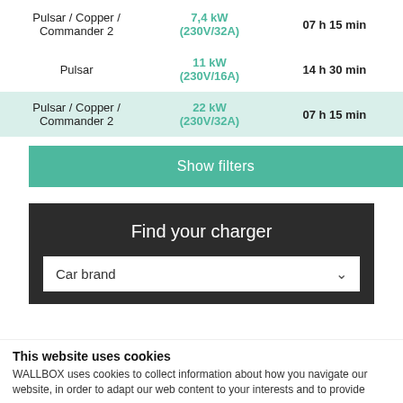| Charger | Power | Time |
| --- | --- | --- |
| Pulsar / Copper / Commander 2 | 7,4 kW (230V/32A) | 07 h 15 min |
| Pulsar | 11 kW (230V/16A) | 14 h 30 min |
| Pulsar / Copper / Commander 2 | 22 kW (230V/32A) | 07 h 15 min |
Show filters
Find your charger
Car brand
This website uses cookies
WALLBOX uses cookies to collect information about how you navigate our website, in order to adapt our web content to your interests and to provide